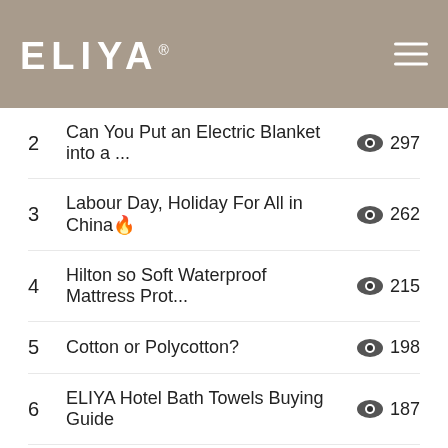ELIYA®
2  Can You Put an Electric Blanket into a ...  👁 297
3  Labour Day, Holiday For All in China🔥  👁 262
4  Hilton so Soft Waterproof Mattress Prot...  👁 215
5  Cotton or Polycotton?  👁 198
6  ELIYA Hotel Bath Towels Buying Guide  👁 187
7  ELIYA Hotel Table Linen & Guest Room...  👁 170
8  Which Duvet Cover/quilt Should I Get?  👁 162
9  ELIYA Factory Tour for CCPIT  👁 156
10  What Exactly Is a Duvet Cover, and Ho...  👁 146